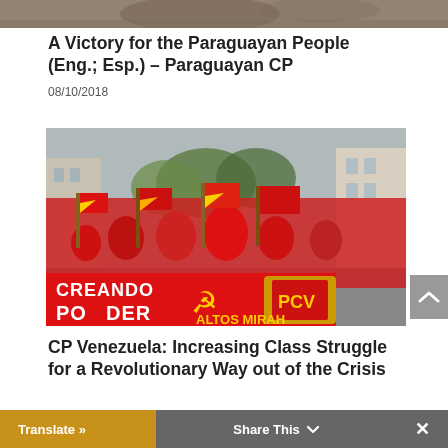[Figure (photo): Partial top image cropped at the top of the page, showing what appears to be a close-up brownish/natural scene]
A Victory for the Paraguayan People (Eng.; Esp.) – Paraguayan CP
08/10/2018
[Figure (photo): Large crowd of people dressed in red, carrying red flags with hammer and sickle symbols, marching down a street. A large red banner in the foreground reads 'CREANDO PODER POPULAR' and another reads 'PCV ALTOS MIRAH...']
CP Venezuela: Increasing Class Struggle for a Revolutionary Way out of the Crisis
Translate »   Share This   ×